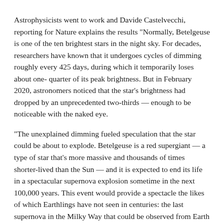Astrophysicists went to work and Davide Castelvecchi, reporting for Nature explains the results "Normally, Betelgeuse is one of the ten brightest stars in the night sky. For decades, researchers have known that it undergoes cycles of dimming roughly every 425 days, during which it temporarily loses about one-quarter of its peak brightness. But in February 2020, astronomers noticed that the star's brightness had dropped by an unprecedented two-thirds — enough to be noticeable with the naked eye.
"The unexplained dimming fueled speculation that the star could be about to explode. Betelgeuse is a red supergiant — a type of star that's more massive and thousands of times shorter-lived than the Sun — and it is expected to end its life in a spectacular supernova explosion sometime in the next 100,000 years. This event would provide a spectacle the likes of which Earthlings have not seen in centuries: the last supernova in the Milky Way that could be observed from Earth was in 1604, and Betelgeuse is so close to our planet that its supernova will be bright enough to be visible during daytime for weeks. The star is around 168 parsecs (548 light years) away, according to the most current estimates².
"But many astrophysicists warned that the supernova speculation was wishful thinking. They pointed out that the dimming was likely to be caused by more mundane mechanisms, such as a blob of unusually cold matter appearing on the